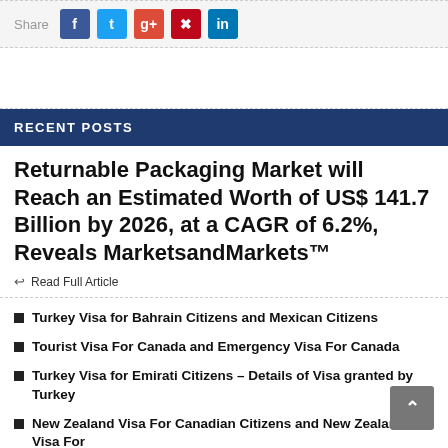Share [Facebook] [Twitter] [Google+] [Pinterest] [LinkedIn]
RECENT POSTS
Returnable Packaging Market will Reach an Estimated Worth of US$ 141.7 Billion by 2026, at a CAGR of 6.2%, Reveals MarketsandMarkets™
Read Full Article
Turkey Visa for Bahrain Citizens and Mexican Citizens
Tourist Visa For Canada and Emergency Visa For Canada
Turkey Visa for Emirati Citizens – Details of Visa granted by Turkey
New Zealand Visa For Canadian Citizens and New Zealand Visa For